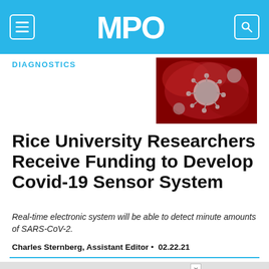MPO
DIAGNOSTICS
[Figure (photo): Microscopic image of SARS-CoV-2 coronavirus particles shown in red tones]
Rice University Researchers Receive Funding to Develop Covid-19 Sensor System
Real-time electronic system will be able to detect minute amounts of SARS-CoV-2.
Charles Sternberg, Assistant Editor • 02.22.21
[Figure (other): Sponsored advertisement banner featuring POREX Filtration Group and ALINE logos]